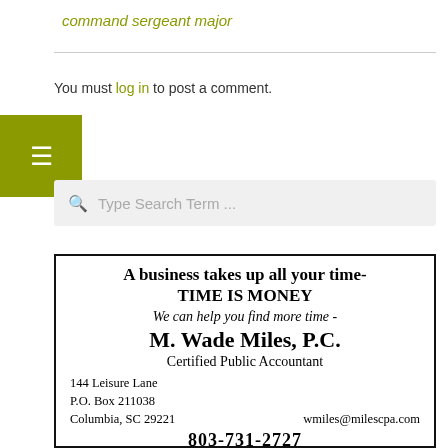command sergeant major
You must log in to post a comment.
[Figure (other): Search bar with magnifying glass icon and placeholder text 'Type Search Term ...']
[Figure (other): Advertisement for M. Wade Miles, P.C. Certified Public Accountant. Text: 'A business takes up all your time- TIME IS MONEY / We can help you find more time - / M. Wade Miles, P.C. / Certified Public Accountant / 144 Leisure Lane / P.O. Box 211038 / Columbia, SC 29221 / wmiles@milescpa.com / 803-731-2727']